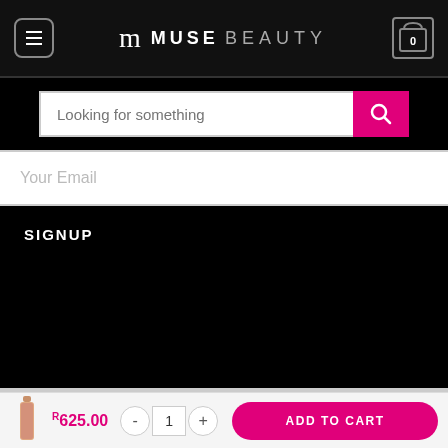MUSE BEAUTY
Looking for something
Your Email
SIGNUP
[Figure (logo): Payment logos: DPO PAYGATE, VISA, MasterCard, Verified by VISA, MasterCard SecureCode]
Copyright 2022 © Muse Beauty Online
R625.00
ADD TO CART